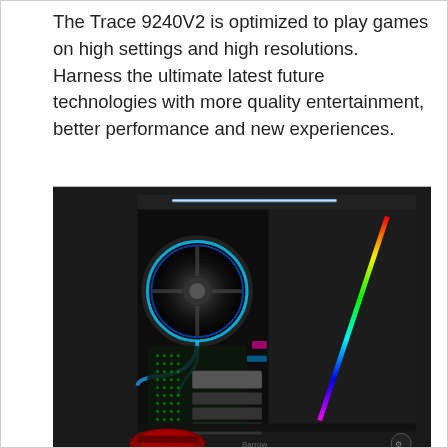The Trace 9240V2 is optimized to play games on high settings and high resolutions. Harness the ultimate latest future technologies with more quality entertainment, better performance and new experiences.
[Figure (photo): A gaming PC tower (Trace 9240V2) with a transparent side panel showing RGB lighting, a circular CPU cooler fan, and colorful internal components. The front panel has a diagonal RGB light strip. A gaming mouse is partially visible at the bottom.]